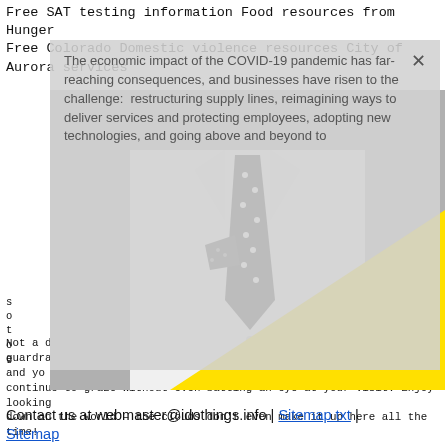Free SAT testing information Food resources from Hunger Free Colorado Domestic violence resources City of Aurora services
[Figure (screenshot): A modal/popup overlay with grey semi-transparent background containing text: 'The economic impact of the COVID-19 pandemic has far-reaching consequences, and businesses have risen to the challenge: restructuring supply lines, reimagining ways to deliver services and protecting employees, adopting new technologies, and going above and beyond to...' with a close (X) button. Overlapping with a black-and-white photo of a man in a white shirt with a polka-dot tie and pocket square, with a large yellow triangle shape overlaid in the lower right.]
Not a d... guardrail... ews and yo... o continue to graze without even batting an eye at your visit. Enjoy looking down on the world – the clouds don't even make it up here all the time!
Contact us at webmaster@idothings.info | Sitemap txt | Sitemap